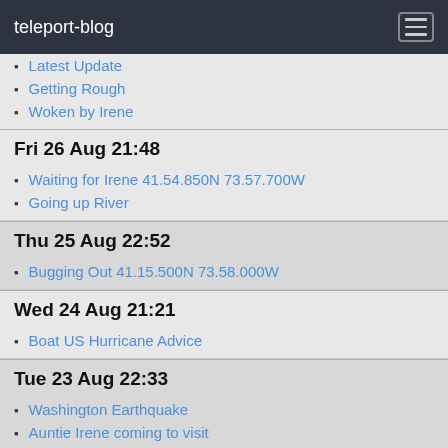teleport-blog
Latest Update
Getting Rough
Woken by Irene
Fri 26 Aug 21:48
Waiting for Irene 41.54.850N 73.57.700W
Going up River
Thu 25 Aug 22:52
Bugging Out 41.15.500N 73.58.000W
Wed 24 Aug 21:21
Boat US Hurricane Advice
Tue 23 Aug 22:33
Washington Earthquake
Auntie Irene coming to visit
Sun 21 Aug 22:27
Sunday in New York
Sat 20 Aug 22:04